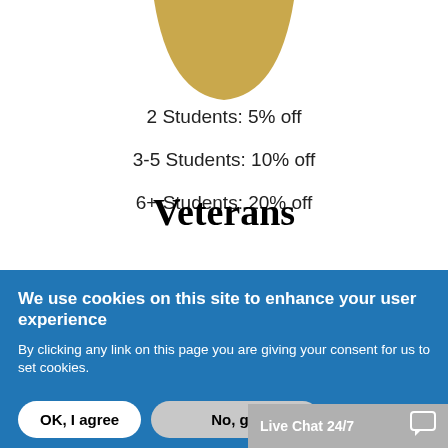[Figure (illustration): Partial gold/tan fan or shield shape (top portion of a logo or emblem) centered at the top of the page]
2 Students: 5% off
3-5 Students: 10% off
6+ Students: 20% off
Veterans
We use cookies on this site to enhance your user experience
By clicking any link on this page you are giving your consent for us to set cookies.
OK, I agree
No, gi…
Live Chat 24/7